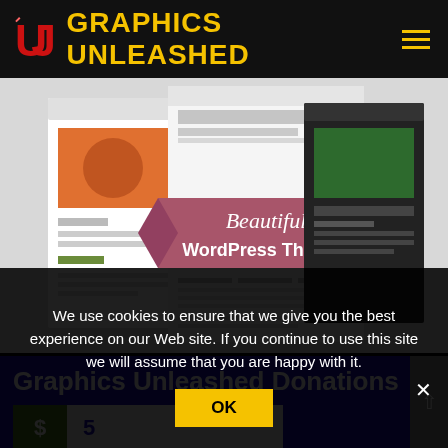Graphics Unleashed
[Figure (screenshot): Screenshot showing multiple WordPress theme designs with text 'Beautiful WordPress Themes' on a ribbon banner in the center]
Graphics Unleashed Donations
$ 5
We use cookies to ensure that we give you the best experience on our Web site. If you continue to use this site we will assume that you are happy with it.
OK